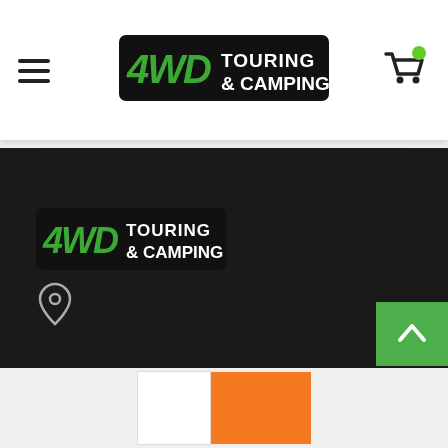[Figure (logo): 4WD Touring & Camping logo in header navigation bar on black background]
[Figure (logo): 4WD Touring & Camping logo in dark footer section on black background]
[Figure (other): Location pin icon in footer]
[Figure (other): Green back-to-top button with caret/chevron up arrow]
[Figure (other): White and orange pagination buttons at bottom of page]